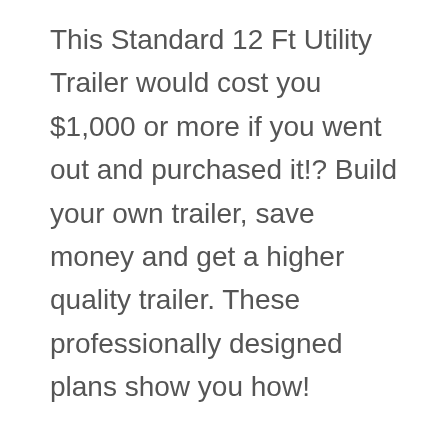This Standard 12 Ft Utility Trailer would cost you $1,000 or more if you went out and purchased it!? Build your own trailer, save money and get a higher quality trailer. These professionally designed plans show you how!
12 Ft Utility Trailer Plans come with fabrication shop drawings, individual piece part drawings, all information on utility trailer purchased parts.